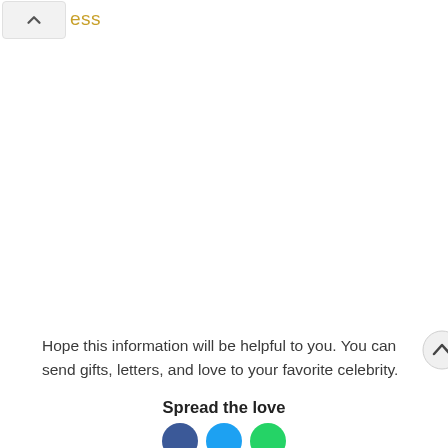ess
Hope this information will be helpful to you. You can send gifts, letters, and love to your favorite celebrity.
Spread the love